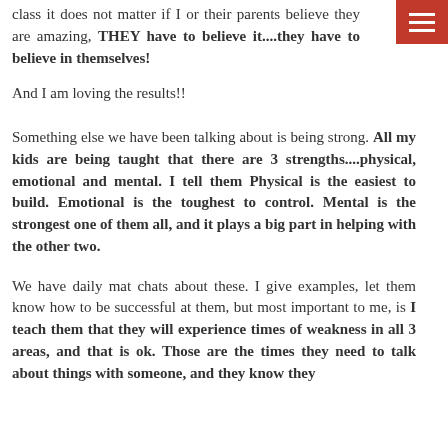class it does not matter if I or their parents believe they are amazing, THEY have to believe it....they have to believe in themselves!
And I am loving the results!!
Something else we have been talking about is being strong. All my kids are being taught that there are 3 strengths....physical, emotional and mental. I tell them Physical is the easiest to build. Emotional is the toughest to control. Mental is the strongest one of them all, and it plays a big part in helping with the other two.
We have daily mat chats about these. I give examples, let them know how to be successful at them, but most important to me, is I teach them that they will experience times of weakness in all 3 areas, and that is ok. Those are the times they need to talk about things with someone, and they know they